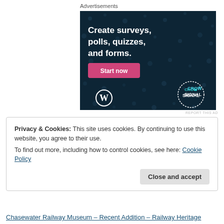Advertisements
[Figure (illustration): Advertisement banner for Crowdsignal with dark navy background and dot pattern. Text reads: 'Create surveys, polls, quizzes, and forms.' with a pink 'Start now' button, WordPress logo bottom-left, and Crowdsignal circle logo bottom-right.]
REPORT THIS AD
Privacy & Cookies: This site uses cookies. By continuing to use this website, you agree to their use.
To find out more, including how to control cookies, see here: Cookie Policy
Close and accept
Chasewater Railway Museum – Recent Addition – Railway Heritage